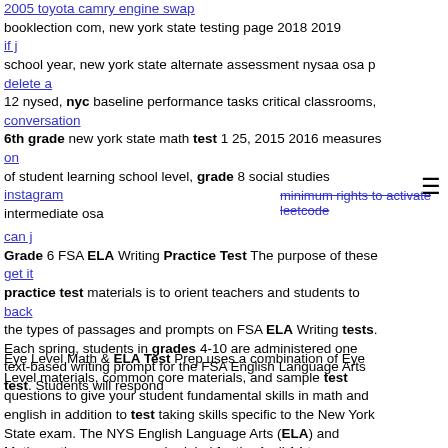2005 toyota camry engine swap booklection com, new york state testing page 2018 2019 school year, new york state alternate assessment nysaa osa p 12 nysed, nyc baseline performance tasks critical classrooms, 6th grade new york state math test 1 25, 2015 2016 measures of student learning school level, grade 8 social studies intermediate osa
Grade 6 FSA ELA Writing Practice Test The purpose of these practice test materials is to orient teachers and students to the types of passages and prompts on FSA ELA Writing tests. Each spring, students in grades 4-10 are administered one text-based writing prompt for the FSA English Language Arts test. Students will respond
Eye Level Math & ELA Test Prep uses a combination of Eye Level materials, common core materials, and sample test questions to give your student fundamental skills in math and english in addition to test taking skills specific to the New York State exam. The NYS English Language Arts (ELA) and Mathematics exams are scheduled for the April 14 to ...
April 29 to 2019 ... Preparing for the NYS ELA Parents E...